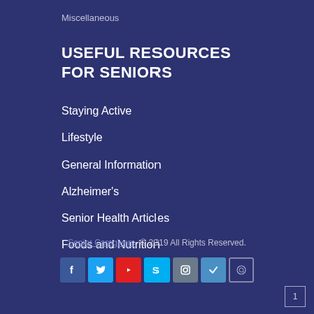Miscellaneous
USEFUL RESOURCES FOR SENIORS
Staying Active
Lifestyle
General Information
Alzheimer's
Senior Health Articles
Foods and Nutrition
Senior Caregivers © 2019 All Rights Reserved.
[Figure (other): Social media icons: Facebook, Twitter, YouTube, Skype, Instagram, check/layers icon, WhatsApp]
1